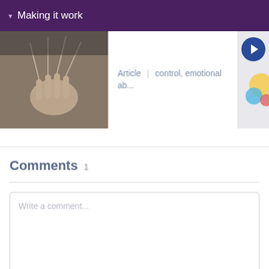Making it work
[Figure (screenshot): Carousel card showing a puppet image on the left, and text 'Article | control, emotional ab...' on a white card, with a dark blue navigation arrow button on the right]
Comments 1
Write a comment...
Post comment